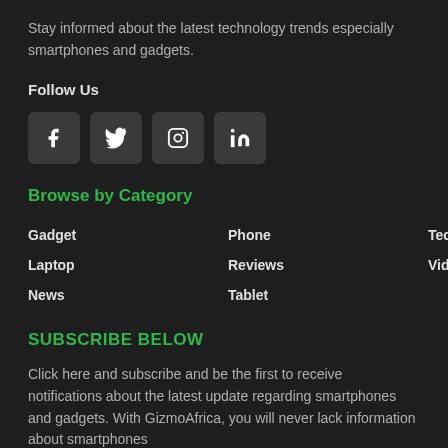Stay informed about the latest technology trends especially smartphones and gadgets.
Follow Us
[Figure (other): Social media icon buttons for Facebook, Twitter, Instagram, and LinkedIn]
Browse by Category
Gadget
Phone
Tech
Laptop
Reviews
Videos
News
Tablet
SUBSCRIBE BELOW
Click here and subscribe and be the first to receive notifications about the latest update regarding smartphones and gadgets. With GizmoAfrica, you will never lack information about smartphones